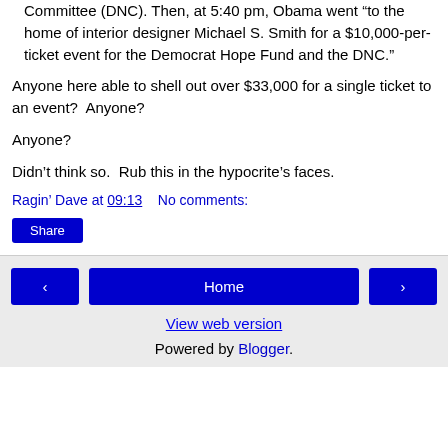Committee (DNC). Then, at 5:40 pm, Obama went “to the home of interior designer Michael S. Smith for a $10,000-per-ticket event for the Democrat Hope Fund and the DNC.”
Anyone here able to shell out over $33,000 for a single ticket to an event?  Anyone?
Anyone?
Didn’t think so.  Rub this in the hypocrite’s faces.
Ragin’ Dave at 09:13    No comments:
Share
Home
View web version
Powered by Blogger.